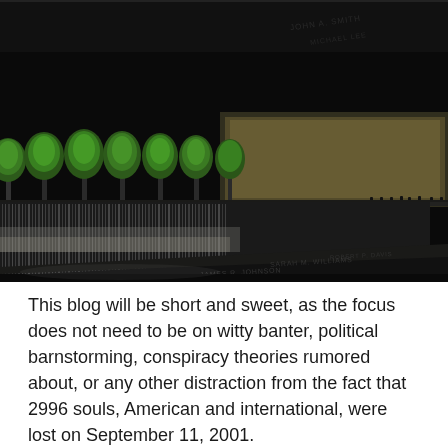[Figure (photo): Top partial photo showing dark water surface of 9/11 Memorial reflecting pool with engraved names, taken at night]
[Figure (photo): Night photograph of the National September 11 Memorial in New York City showing the large reflecting pool waterfall with illuminated green trees and the memorial museum building in the background]
This blog will be short and sweet, as the focus does not need to be on witty banter, political barnstorming, conspiracy theories rumored about, or any other distraction from the fact that 2996 souls, American and international, were lost on September 11, 2001.
We need to remember the grace under pressure the